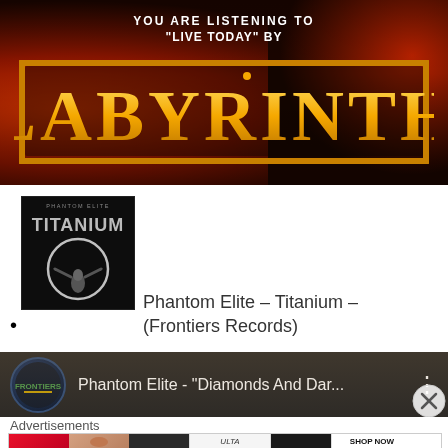[Figure (photo): Banner image for Labyrinth band showing 'YOU ARE LISTENING TO "LIVE TODAY" BY LABYRINTH' with fiery orange and red background. The word LABYRINTH is displayed in large ornate gold letters.]
Phantom Elite – Titanium – (Frontiers Records)
[Figure (screenshot): YouTube video thumbnail showing Phantom Elite - 'Diamonds And Dar...' with channel icon and three-dot menu]
Advertisements
[Figure (photo): Ulta Beauty advertisement strip showing makeup-related images and SHOP NOW text]